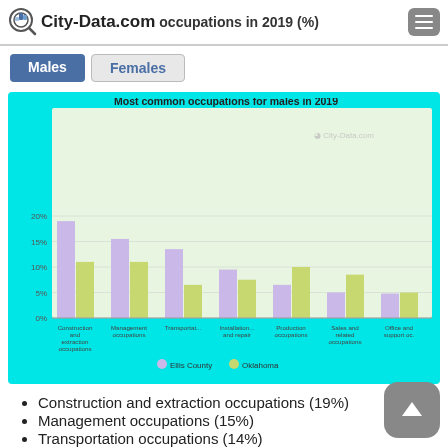City-Data.com occupations in 2019 (%)
[Figure (grouped-bar-chart): Most common occupations for males in 2019]
Construction and extraction occupations (19%)
Management occupations (15%)
Transportation occupations (14%)